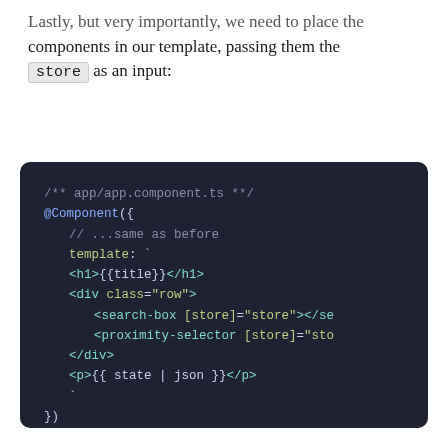Lastly, but very importantly, we need to place the components in our template, passing them the store as an input:
[Figure (screenshot): Dark-themed code editor showing app/app.component.ts TypeScript file with @Component decorator, template containing h1, div.row with search-box and proximity-selector components bound to store, and a paragraph with state|json pipe.]